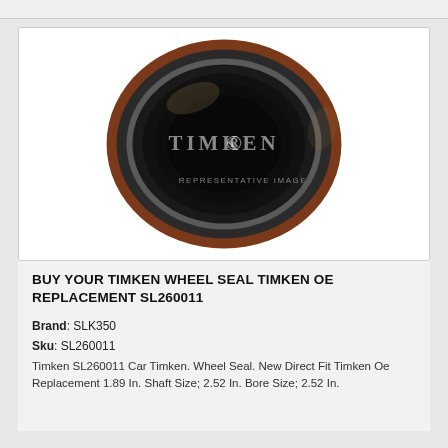[Figure (photo): Timken wheel seal product photo showing a circular rubber/metal seal ring with brown outer ring and black inner ring, set against a white background. The TIMKEN logo watermark appears across the center of the image, with 'REPRESENTATIVE IMAGE' text below.]
BUY YOUR TIMKEN WHEEL SEAL TIMKEN OE REPLACEMENT SL260011
Brand: SLK350
Sku: SL260011
Timken SL260011 Car Timken. Wheel Seal. New Direct Fit Timken Oe Replacement 1.89 In. Shaft Size; 2.52 In. Bore Size; 2.52 In.